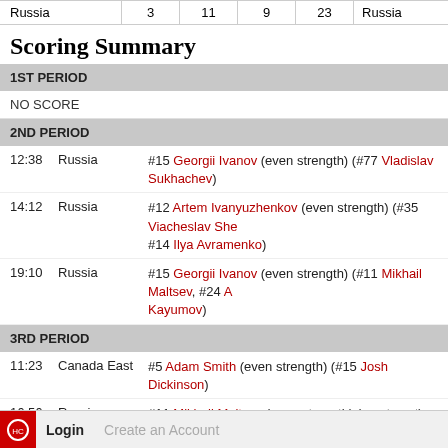| Team |  |  |  |  | Team |
| --- | --- | --- | --- | --- | --- |
| Russia | 3 | 11 | 9 | 23 | Russia |
Scoring Summary
1ST PERIOD
NO SCORE
2ND PERIOD
12:38  Russia  #15 Georgii Ivanov (even strength) (#77 Vladislav Sukhachev)
14:12  Russia  #12 Artem Ivanyuzhenkov (even strength) (#35 Viacheslav She... #14 Ilya Avramenko)
19:10  Russia  #15 Georgii Ivanov (even strength) (#11 Mikhail Maltsev, #24 A... Kayumov)
3RD PERIOD
11:23  Canada East  #5 Adam Smith (even strength) (#15 Josh Dickinson)
16:56  Russia  #11 Mikhail Maltsev (even strength) (empty net) (#89 Ilia Karpu... Artur Kayumov)
17:43  Russia  #51 Nikolay Kovalenko (short handed) (empty net)
19:14  Russia  #8 Dmitrii Alekseev (even strength) (#14 Ilya Avramenko)
Penalty Summary
Login   Create an Account